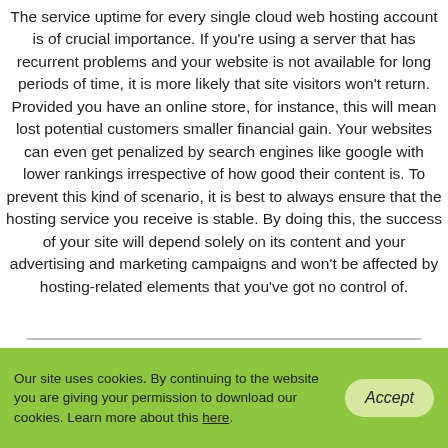The service uptime for every single cloud web hosting account is of crucial importance. If you're using a server that has recurrent problems and your website is not available for long periods of time, it is more likely that site visitors won't return. Provided you have an online store, for instance, this will mean lost potential customers smaller financial gain. Your websites can even get penalized by search engines like google with lower rankings irrespective of how good their content is. To prevent this kind of scenario, it is best to always ensure that the hosting service you receive is stable. By doing this, the success of your site will depend solely on its content and your advertising and marketing campaigns and won't be affected by hosting-related elements that you've got no control of.
Service Uptime Guarantee in Cloud Web
Our site uses cookies. By continuing to the website you are giving your permission to download our cookies. Learn more about this here.